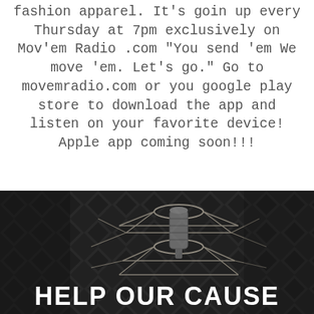fashion apparel. It's goin up every Thursday at 7pm exclusively on Mov'em Radio .com "You send 'em We move 'em. Let's go." Go to movemradio.com or you google play store to download the app and listen on your favorite device! Apple app coming soon!!!
[Figure (photo): Dark background showing acoustic foam panels with a vintage-style condenser microphone on a spider mount/shock mount in the foreground. Black and white/dark tones.]
HELP OUR CAUSE